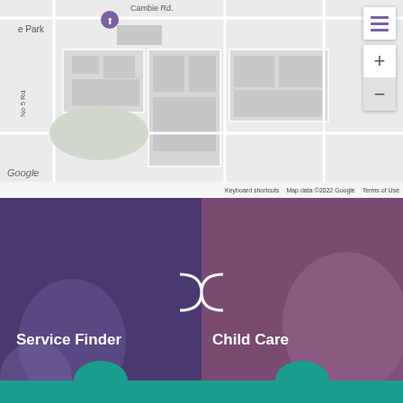[Figure (map): Google Maps screenshot showing a street map with Cambie Rd, No 5 Rd, No 6 Rd, East-West Connector, Knight St labels, a location pin marker, zoom controls (+/-), hamburger menu button, and Google branding. Map data ©2022 Google.]
[Figure (infographic): Two puzzle piece tiles side by side. Left tile has purple overlay with 'Service Finder' label in white bold text and a teal puzzle connector at bottom. Right tile has pink/mauve overlay with 'Child Care' label in white bold text and a teal puzzle connector at bottom. Both tiles partially show background photos of people.]